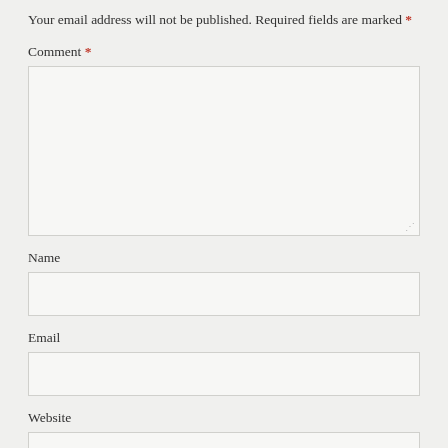Your email address will not be published. Required fields are marked *
Comment *
Name
Email
Website